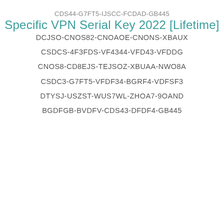CDS44-G7FT5-IJSCC-FCDAD-GB445
Specific VPN Serial Key 2022 [Lifetime]
DCJSO-CNOS82-CNOAOE-CNONS-XBAUX
CSDCS-4F3FDS-VF4344-VFD43-VFDDG
CNOS8-CD8EJS-TEJSOZ-XBUAA-NWO8A
CSDC3-G7FT5-VFDF34-BGRF4-VDFSF3
DTYSJ-USZST-WUS7WL-ZHOA7-9OAND
BGDFGB-BVDFV-CDS43-DFDF4-GB445